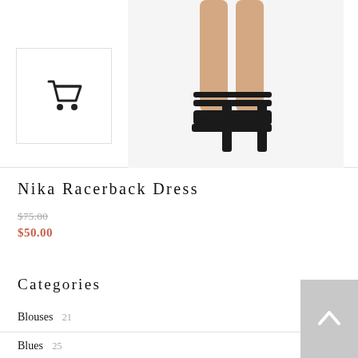[Figure (photo): Product image area showing a cart icon thumbnail on the left and a photo of a model's legs wearing black high-heel platform sandals on the right]
Nika Racerback Dress
$75.00 (strikethrough original price)
$50.00 (sale price in red)
Categories
Blouses 21
Blues 25